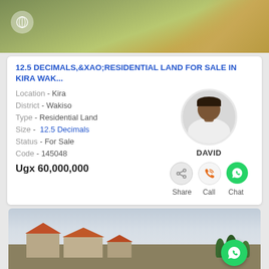[Figure (photo): Aerial view of a land plot with grass and a dirt road]
12.5 DECIMALS,&XAO;RESIDENTIAL LAND FOR SALE IN KIRA WAK...
Location - Kira
District - Wakiso
Type - Residential Land
Size - 12.5 Decimals
Status - For Sale
Code - 145048
Ugx 60,000,000
[Figure (photo): Photo of residential buildings with red roofs and trees under a cloudy sky]